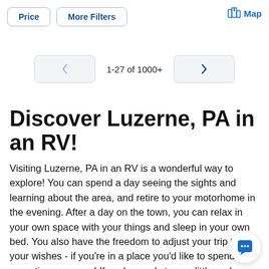Price  More Filters  Map
1-27 of 1000+
Discover Luzerne, PA in an RV!
Visiting Luzerne, PA in an RV is a wonderful way to explore! You can spend a day seeing the sights and learning about the area, and retire to your motorhome in the evening. After a day on the town, you can relax in your own space with your things and sleep in your own bed. You also have the freedom to adjust your trip to your wishes - if you're in a place you'd like to spend more time, you can! If you're ready to m... little early, you have the flexibility to leave when you'c...